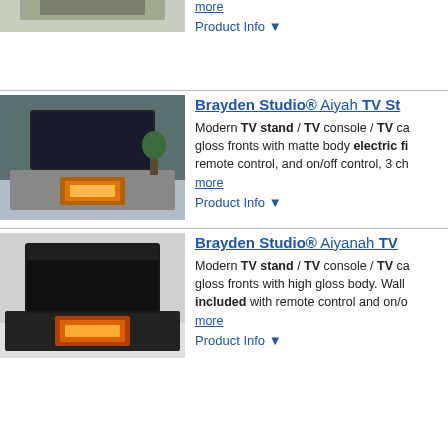more
Product Info ▼
Brayden Studio® Aiyah TV St...
Modern TV stand / TV console / TV ca... gloss fronts with matte body electric fi... remote control, and on/off control, 3 ch...
more
Product Info ▼
Brayden Studio® Aiyanah TV...
Modern TV stand / TV console / TV ca... gloss fronts with high gloss body. Wall... included with remote control and on/o...
more
Product Info ▼
Gracie Oaks Coridon TV Stand...
Charm your movie night guests and tre... farmhouse-inspired fireplace TV stan... traditional, rustic cabin interiors, while...
more
Product Info ▼
Sand & Stable™ Downton TV ...
This TV stand creates a modern farmh... fireplace. It's crafted from solid and en... has an open shelf at the top ideal for...